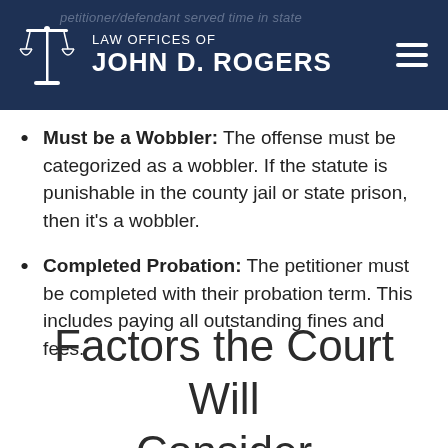LAW OFFICES OF JOHN D. ROGERS
Must be a Wobbler: The offense must be categorized as a wobbler. If the statute is punishable in the county jail or state prison, then it’s a wobbler.
Completed Probation: The petitioner must be completed with their probation term. This includes paying all outstanding fines and fees.
Factors the Court Will Consider